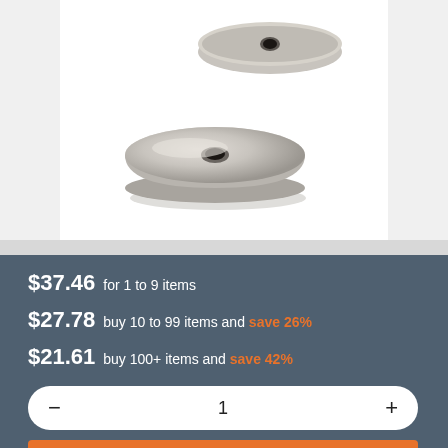[Figure (photo): Two circular neodymium ring/cup magnets with center holes, silver/nickel-plated finish, photographed on a white background. One magnet is in the foreground and one partially visible behind it.]
$37.46 for 1 to 9 items
$27.78 buy 10 to 99 items and save 26%
$21.61 buy 100+ items and save 42%
− 1 +